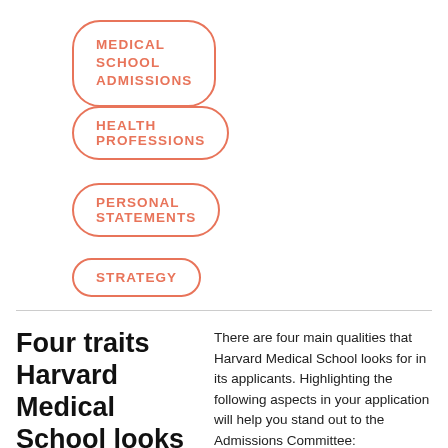MEDICAL SCHOOL ADMISSIONS
HEALTH PROFESSIONS
PERSONAL STATEMENTS
STRATEGY
Four traits Harvard Medical School looks for in applicants
There are four main qualities that Harvard Medical School looks for in its applicants. Highlighting the following aspects in your application will help you stand out to the Admissions Committee: